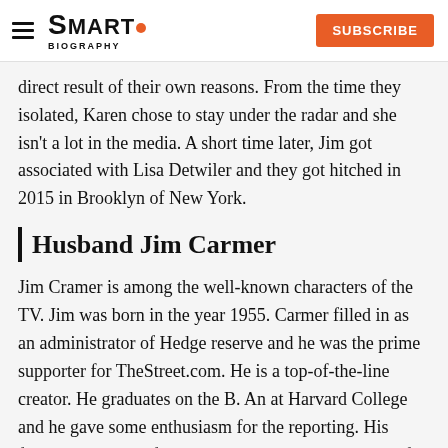SMARTO BIOGRAPHY | SUBSCRIBE
direct result of their own reasons. From the time they isolated, Karen chose to stay under the radar and she isn't a lot in the media. A short time later, Jim got associated with Lisa Detwiler and they got hitched in 2015 in Brooklyn of New York.
Husband Jim Carmer
Jim Cramer is among the well-known characters of the TV. Jim was born in the year 1955. Carmer filled in as an administrator of Hedge reserve and he was the prime supporter for TheStreet.com. He is a top-of-the-line creator. He graduates on the B. An at Harvard College and he gave some enthusiasm for the reporting. His family is a Jewish family and when he was 11 years of age, he began to sell frozen yogurt with the goal that he can bring in some cash.